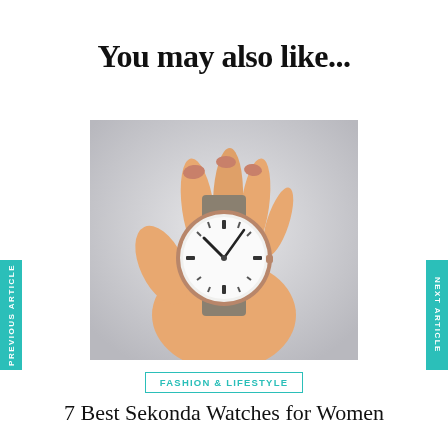You may also like...
[Figure (photo): A hand holding a minimalist analog wristwatch with rose gold case, white dial, and grey/taupe leather strap against a light grey background]
PREVIOUS ARTICLE
NEXT ARTICLE
FASHION & LIFESTYLE
7 Best Sekonda Watches for Women